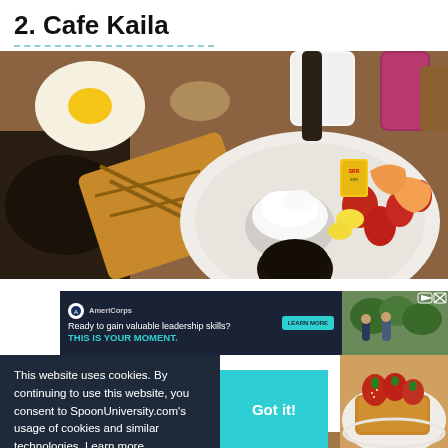2. Cafe Kaila
[Figure (photo): Overhead shot of a breakfast spread at Cafe Kaila: grilled waffle, fried egg, fruit bowl with strawberries, peaches, and bananas, a small bowl of whipped cream, a cup of syrup, mugs, and drinks on a wooden table.]
[Figure (screenshot): AmeriCorps advertisement banner: dark navy background with AmeriCorps logo, text reading 'Ready to gain valuable leadership skills? THIS IS YOUR MOMENT.' with a teal 'LEARN MORE' button, and a photo of people on the right side.]
This website uses cookies. By continuing to use this website, you consent to SpoonUniversity.com's usage of cookies and similar technologies  Learn more
[Figure (photo): Photo on right side showing food with strawberries on toast/french toast, partially visible.]